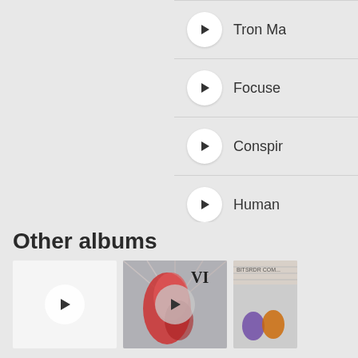Tron Ma...
Focuse...
Conspir...
Human...
ARCHIVE
Other albums
[Figure (illustration): Album thumbnail 1 - white/blank album cover with play button]
[Figure (illustration): Album thumbnail 2 - colorful red/pink concert image with play button overlay]
[Figure (illustration): Album thumbnail 3 - partially visible album cover]